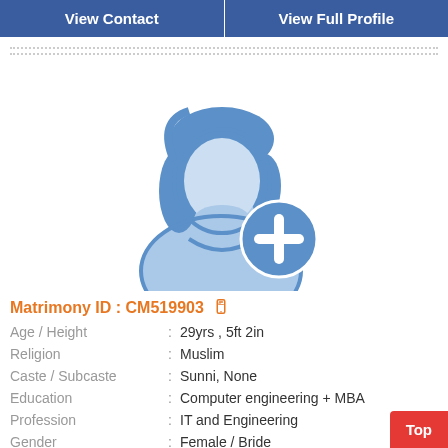[Figure (screenshot): Two blue buttons: 'View Contact' and 'View Full Profile']
[Figure (illustration): Female silhouette avatar icon in light blue with a blue circle containing a white plus sign at lower right]
Matrimony ID : CM519903
| Age / Height | : | 29yrs , 5ft 2in |
| Religion | : | Muslim |
| Caste / Subcaste | : | Sunni, None |
| Education | : | Computer engineering + MBA |
| Profession | : | IT and Engineering |
| Gender | : | Female / Bride |